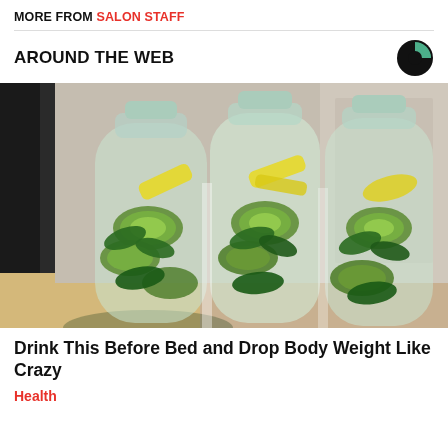MORE FROM SALON STAFF
AROUND THE WEB
[Figure (photo): Three plastic water bottles filled with infused water containing cucumber slices, lemon slices, and mint leaves, sitting on a kitchen counter.]
Drink This Before Bed and Drop Body Weight Like Crazy
Health